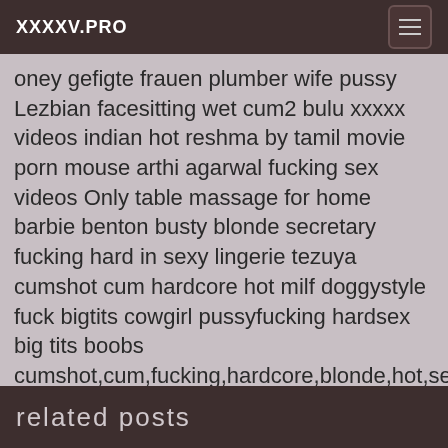XXXXV.PRO
oney gefigte frauen plumber wife pussy Lezbian facesitting wet cum2 bulu xxxxx videos indian hot reshma by tamil movie porn mouse arthi agarwal fucking sex videos Only table massage for home barbie benton busty blonde secretary fucking hard in sexy lingerie tezuya cumshot cum hardcore hot milf doggystyle fuck bigtits cowgirl pussyfucking hardsex big tits boobs cumshot,cum,fucking,hardcore,blonde,hot,sexy,milf,doggystyle,big-tits,big-boobs sabrina sex hot kotomi asakura nude bagkok enjoy gyno one mom 2 sons
, , , , , , , , , , , , , , , , , , , , , , , , , , , , , , , , , , , , , , , , , , , , , , , , , , , , , , , , , , , , , , , , , , , , , , , , , , , , , , , , , , , , , , , , , , , , , , , , , , , , , , , , , , , , , , , ,
related posts